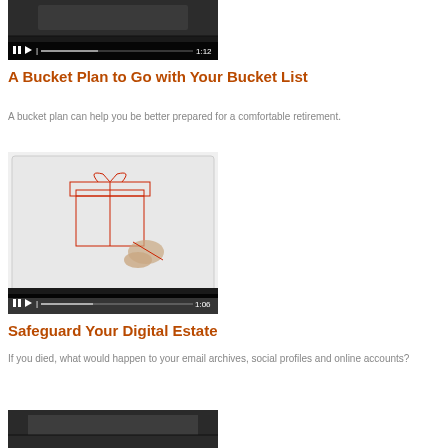[Figure (screenshot): Video thumbnail showing hands on tablet with playback controls and timestamp 1:12]
A Bucket Plan to Go with Your Bucket List
A bucket plan can help you be better prepared for a comfortable retirement.
[Figure (screenshot): Video thumbnail showing hand drawing a gift box on tablet with playback controls and timestamp 1:06]
Safeguard Your Digital Estate
If you died, what would happen to your email archives, social profiles and online accounts?
[Figure (screenshot): Video thumbnail partially visible at bottom of page]